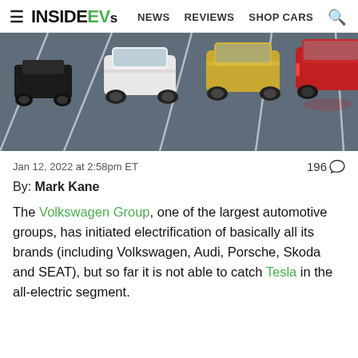InsideEVs — NEWS  REVIEWS  SHOP CARS
[Figure (photo): Overhead view of multiple electric vehicles — a black chassis/skateboard, a white EV, a gold/yellow EV, and a red EV — lined up on a gray road surface with white lane markings.]
Jan 12, 2022 at 2:58pm ET
196 (comments)
By: Mark Kane
The Volkswagen Group, one of the largest automotive groups, has initiated electrification of basically all its brands (including Volkswagen, Audi, Porsche, Skoda and SEAT), but so far it is not able to catch Tesla in the all-electric segment.